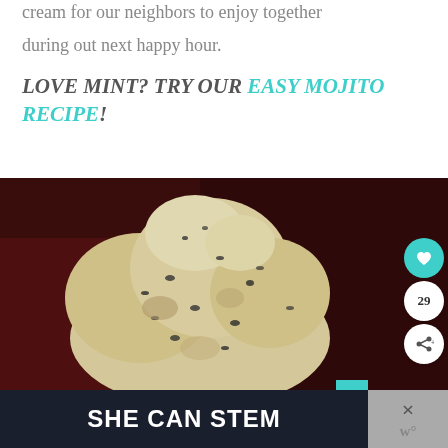cream for our neighbors to enjoy together during out next happy hour.
LOVE MINT? TRY OUR EASY MOJITO RECIPE!
[Figure (photo): A scoop of mint ice cream with dark specks, melting slightly, on a dark background, with social media buttons (heart, 29 count, share) overlaid on the right side.]
[Figure (screenshot): Ad banner reading 'SHE CAN STEM' on dark background with a close button on the right showing an X and a W icon.]